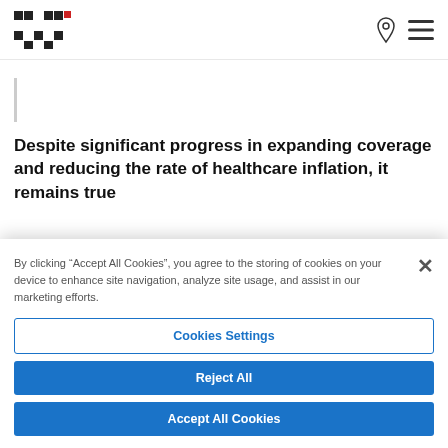HHK logo with navigation icons
Despite significant progress in expanding coverage and reducing the rate of healthcare inflation, it remains true
By clicking “Accept All Cookies”, you agree to the storing of cookies on your device to enhance site navigation, analyze site usage, and assist in our marketing efforts.
Cookies Settings
Reject All
Accept All Cookies